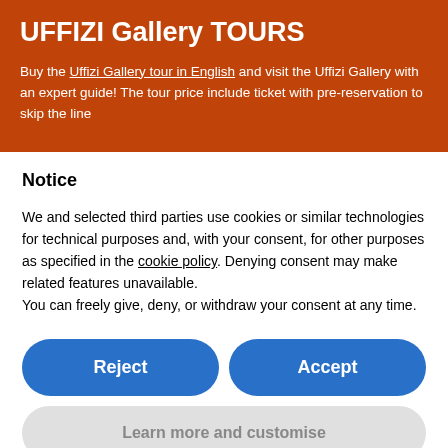UFFIZI Gallery TOURS
Buy the Uffizi Gallery tour in English and visit the Uffizi Gallery with an expert guide! The tour price include ticket with pre-reservation to skip the line
Notice
We and selected third parties use cookies or similar technologies for technical purposes and, with your consent, for other purposes as specified in the cookie policy. Denying consent may make related features unavailable.
You can freely give, deny, or withdraw your consent at any time.
Reject
Accept
Learn more and customise